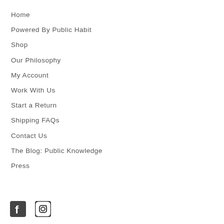Home
Powered By Public Habit
Shop
Our Philosophy
My Account
Work With Us
Start a Return
Shipping FAQs
Contact Us
The Blog: Public Knowledge
Press
[Figure (illustration): Facebook and Instagram social media icons]